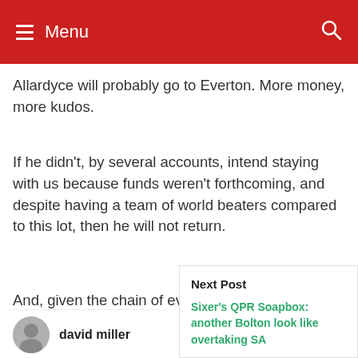Menu
Allardyce will probably go to Everton. More money, more kudos.
If he didn't, by several accounts, intend staying with us because funds weren't forthcoming, and despite having a team of world beaters compared to this lot, then he will not return.
And, given the chain of events he started, I wouldn't welcome h...
Next Post
Sixer's QPR Soapbox: another Bolton look like overtaking SA
david miller